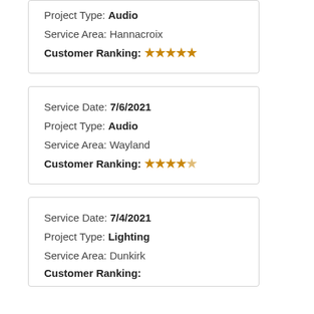Project Type: Audio
Service Area: Hannacroix
Customer Ranking: ★★★★★
Service Date: 7/6/2021
Project Type: Audio
Service Area: Wayland
Customer Ranking: ★★★★★
Service Date: 7/4/2021
Project Type: Lighting
Service Area: Dunkirk
Customer Ranking: (partial)